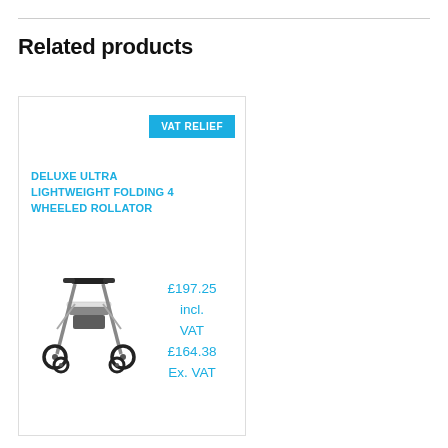Related products
[Figure (photo): Deluxe Ultra Lightweight Folding 4 Wheeled Rollator product card with VAT Relief badge, product image of a white 4-wheeled rollator walker, and pricing showing £197.25 incl. VAT and £164.38 Ex. VAT]
DELUXE ULTRA LIGHTWEIGHT FOLDING 4 WHEELED ROLLATOR
£197.25 incl. VAT £164.38 Ex. VAT